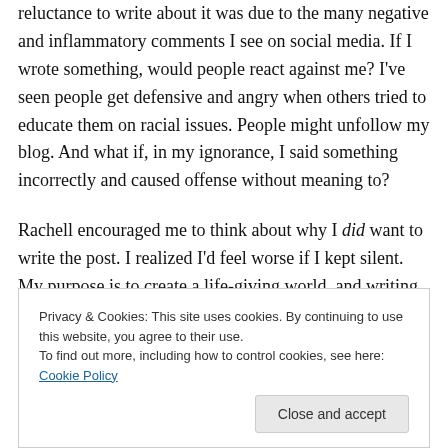in discussing it with my coach, I saw that part of my reluctance to write about it was due to the many negative and inflammatory comments I see on social media. If I wrote something, would people react against me? I've seen people get defensive and angry when others tried to educate them on racial issues. People might unfollow my blog. And what if, in my ignorance, I said something incorrectly and caused offense without meaning to?
Rachell encouraged me to think about why I did want to write the post. I realized I'd feel worse if I kept silent. My purpose is to create a life-giving world, and writing is one
Privacy & Cookies: This site uses cookies. By continuing to use this website, you agree to their use.
To find out more, including how to control cookies, see here: Cookie Policy
those terms, it felt exciting, rather than a dreaded chore. I